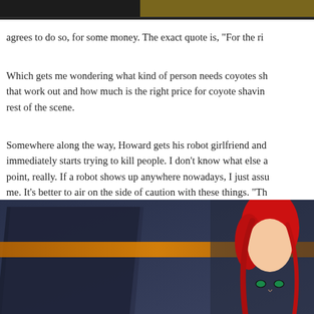[Figure (illustration): Top portion of an animated/illustrated scene, dark background with gold/yellow element visible at top]
agrees to do so, for some money. The exact quote is, “For the ri
Which gets me wondering what kind of person needs coyotes sh that work out and how much is the right price for coyote shavin rest of the scene.
Somewhere along the way, Howard gets his robot girlfriend and immediately starts trying to kill people. I don’t know what else a point, really. If a robot shows up anywhere nowadays, I just assu me. It’s better to air on the side of caution with these things. “Th robots. The robot is pretty hot though.
[Figure (illustration): Bottom portion showing an animated scene with a dark blue/grey background, an orange diagonal stripe, dark angular panel shapes, and a figure with red hair visible on the right side]